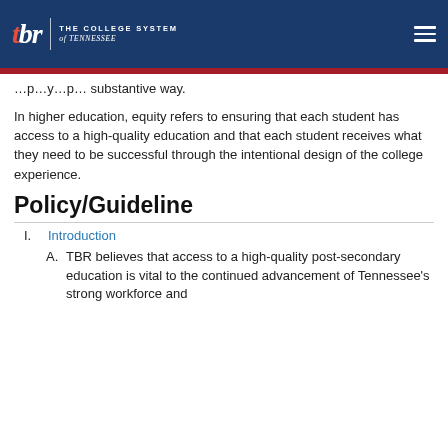tbr | THE COLLEGE SYSTEM of TENNESSEE
...p...y...p... substantive way.
In higher education, equity refers to ensuring that each student has access to a high-quality education and that each student receives what they need to be successful through the intentional design of the college experience.
Policy/Guideline
I. Introduction
A. TBR believes that access to a high-quality post-secondary education is vital to the continued advancement of Tennessee's strong workforce and